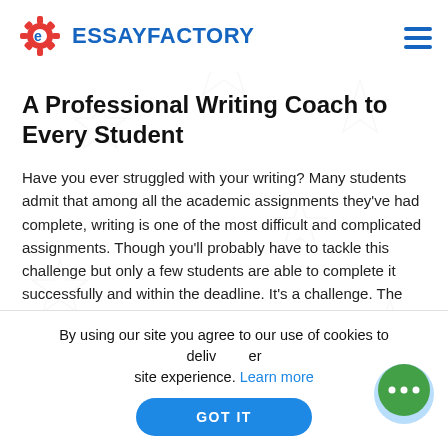ESSAYFACTORY
A Professional Writing Coach to Every Student
Have you ever struggled with your writing? Many students admit that among all the academic assignments they've had complete, writing is one of the most difficult and complicated assignments. Though you'll probably have to tackle this challenge but only a few students are able to complete it successfully and within the deadline. It's a challenge. The process of writing a paper requires excellent writing skills, a lot of research, and additional preparatory steps and an understanding of the subject matter. It's clear that it's
By using our site you agree to our use of cookies to deliver a better site experience. Learn more
GOT IT